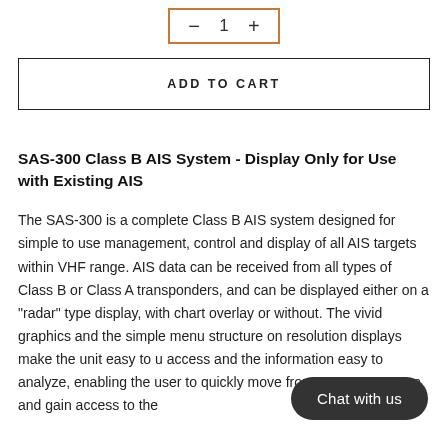[Figure (other): Quantity selector with minus button, '1', and plus button, enclosed in an orange/brown border box]
ADD TO CART
SAS-300 Class B AIS System - Display Only for Use with Existing AIS
The SAS-300 is a complete Class B AIS system designed for simple to use management, control and display of all AIS targets within VHF range. AIS data can be received from all types of Class B or Class A transponders, and can be displayed either on a "radar" type display, with chart overlay or without. The vivid graphics and the simple menu structure on resolution displays make the unit easy to u access and the information easy to analyze, enabling the user to quickly move from screen to screen and gain access to the
[Figure (other): Chat with us button/bubble overlay in dark rounded pill shape]